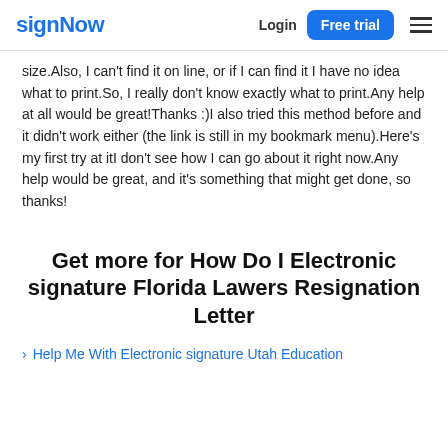signNow | Login | Free trial
size.Also, I can't find it on line, or if I can find it I have no idea what to print.So, I really don't know exactly what to print.Any help at all would be great!Thanks :)I also tried this method before and it didn't work either (the link is still in my bookmark menu).Here's my first try at itI don't see how I can go about it right now.Any help would be great, and it's something that might get done, so thanks!
Get more for How Do I Electronic signature Florida Lawers Resignation Letter
Help Me With Electronic signature Utah Education